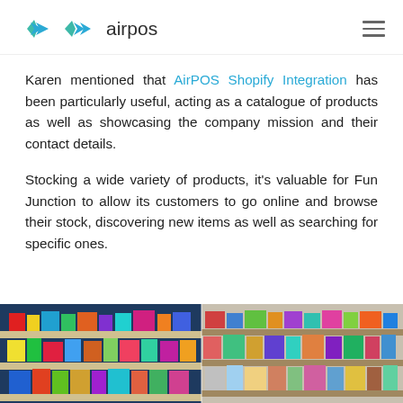airpos
Karen mentioned that AirPOS Shopify Integration has been particularly useful, acting as a catalogue of products as well as showcasing the company mission and their contact details.
Stocking a wide variety of products, it's valuable for Fun Junction to allow its customers to go online and browse their stock, discovering new items as well as searching for specific ones.
[Figure (photo): Photo of a toy/games shop interior showing shelves stocked with colourful products and games.]